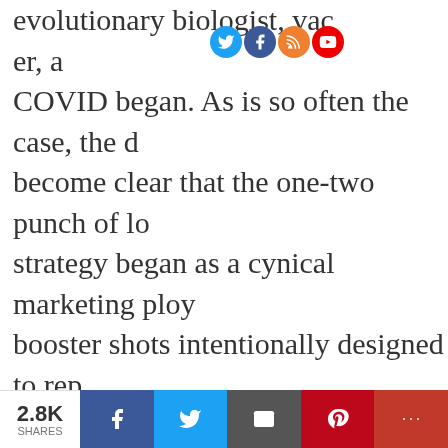evolutionary biologist, vaccine developer, a COVID began. As is so often the case, the d become clear that the one-two punch of lo strategy began as a cynical marketing ploy booster shots intentionally designed to rep respiratory viruses that come from hugs an school. We are being played for fools.
2.8K SHARES | Facebook | Twitter | Email | Pinterest | More